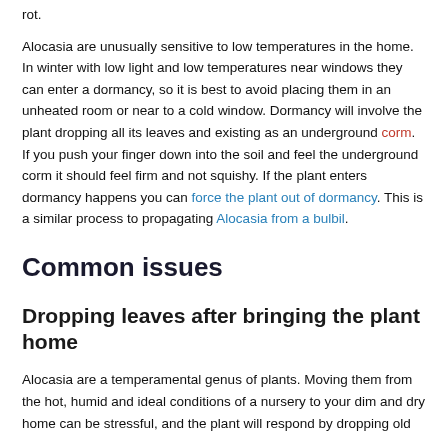rot.
Alocasia are unusually sensitive to low temperatures in the home. In winter with low light and low temperatures near windows they can enter a dormancy, so it is best to avoid placing them in an unheated room or near to a cold window. Dormancy will involve the plant dropping all its leaves and existing as an underground corm. If you push your finger down into the soil and feel the underground corm it should feel firm and not squishy. If the plant enters dormancy happens you can force the plant out of dormancy. This is a similar process to propagating Alocasia from a bulbil.
Common issues
Dropping leaves after bringing the plant home
Alocasia are a temperamental genus of plants. Moving them from the hot, humid and ideal conditions of a nursery to your dim and dry home can be stressful, and the plant will respond by dropping old